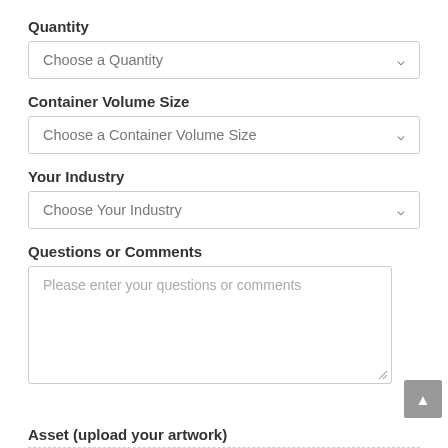Quantity
[Figure (screenshot): Dropdown select field with placeholder text 'Choose a Quantity' and chevron arrow]
Container Volume Size
[Figure (screenshot): Dropdown select field with placeholder text 'Choose a Container Volume Size' and chevron arrow]
Your Industry
[Figure (screenshot): Dropdown select field with placeholder text 'Choose Your Industry' and chevron arrow]
Questions or Comments
[Figure (screenshot): Textarea input with placeholder text 'Please enter your questions or comments' and a resize handle, with a scroll-to-top button overlaid at bottom right]
Asset (upload your artwork)